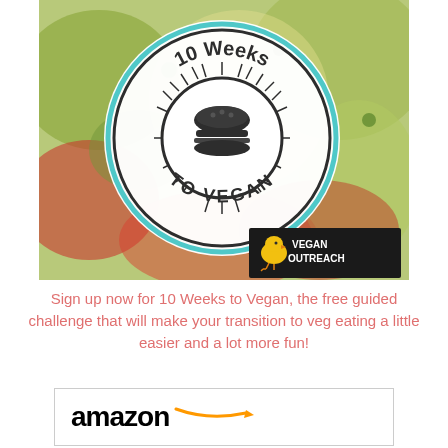[Figure (illustration): 10 Weeks to Vegan promotional image with a badge logo showing a burger icon, surrounded by rays, with 10 Weeks on top and TO VEGAN on bottom. Background shows colorful vegan food. Bottom right corner has Vegan Outreach logo with a yellow chick.]
Sign up now for 10 Weeks to Vegan, the free guided challenge that will make your transition to veg eating a little easier and a lot more fun!
[Figure (logo): Amazon logo with orange arrow swoosh underneath]